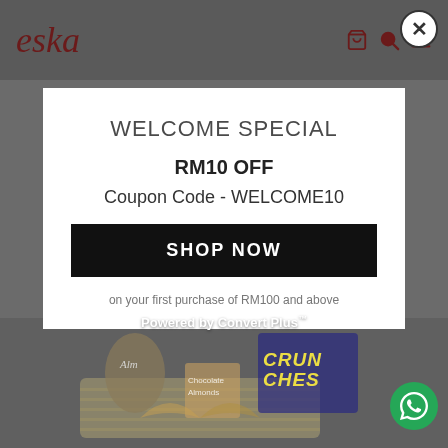[Figure (screenshot): Eska e-commerce website header with logo and navigation icons on dark grey background]
WELCOME SPECIAL
RM10 OFF
Coupon Code - WELCOME10
SHOP NOW
on your first purchase of RM100 and above
Powered by Convert Plus™
[Figure (photo): Gift basket with various products including almonds and crunches snacks in white wicker basket with ribbon]